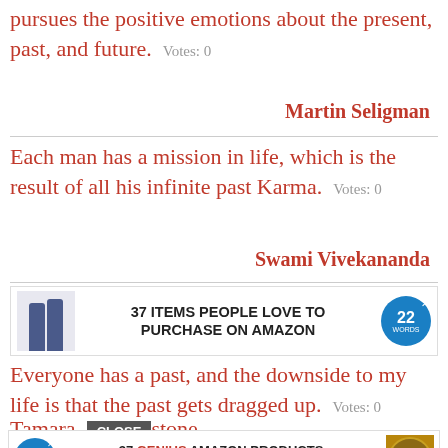pursues the positive emotions about the present, past, and future.  Votes: 0
Martin Seligman
Each man has a mission in life, which is the result of all his infinite past Karma.  Votes: 0
Swami Vivekananda
[Figure (other): Advertisement banner: 37 ITEMS PEOPLE LOVE TO PURCHASE ON AMAZON with product images and 22 Words badge]
Everyone has a past, and the downside to my life is that the past gets dragged up.  Votes: 0
Tamara Ecclestone
[Figure (other): Advertisement banner: 37 GENIUS AMAZON PRODUCTS THAT CAN BE USED BY ANYONE with CLOSE button overlay]
Don't dwell on the unfairness of past hurts.  Votes: 0